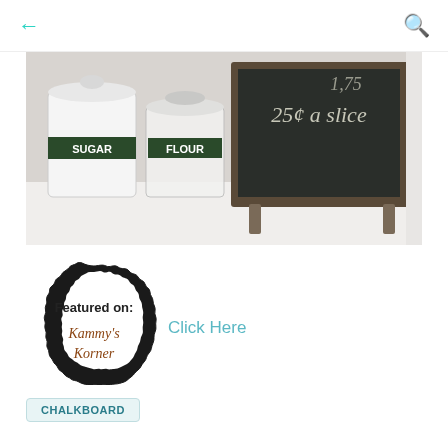← (back) 🔍 (search)
[Figure (photo): Kitchen counter scene with white ceramic SUGAR and FLOUR labeled jars, and a dark chalkboard sign reading '25¢ a slice']
[Figure (logo): Badge/logo reading 'Featured on: Kammy's Korner' with decorative scalloped border]
Click Here
CHALKBOARD